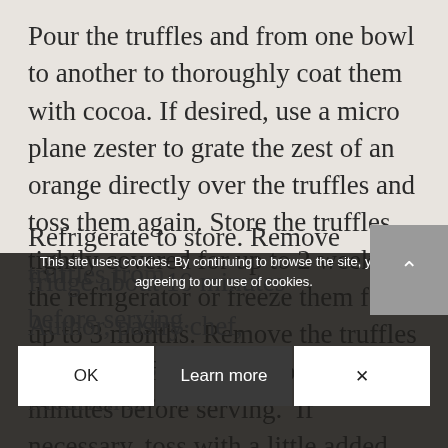Pour the truffles and from one bowl to another to thoroughly coat them with cocoa. If desired, use a micro plane zester to grate the zest of an orange directly over the truffles and toss them again. Store the truffles tightly covered for up to 2 weeks in the refrigerator or freeze them for up to 3 months. Remove the truffles from the refrigerator about 15 minutes before serving.  If necessary, toss with a little added cocoa and/or remove excess cocoa by shaking truffles gently in a coarse strainer.
Refrigerate to store. Remove truffles from fridge about 10 minutes before serving.
This site uses cookies. By continuing to browse the site, you are agreeing to our use of cookies.
Author, pastry chef, and teacher, Alice Medrich is